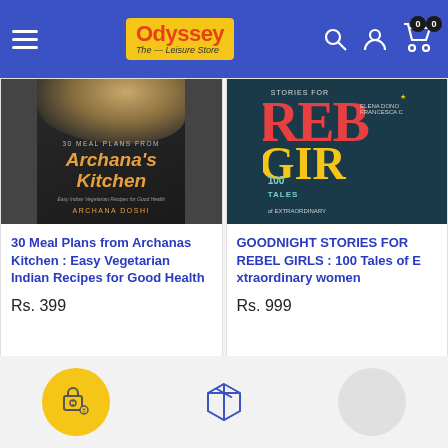[Figure (screenshot): Odyssey – The Leisure Store website header with logo, hamburger menu, search, user and cart icons on blue background]
[Figure (photo): Book cover: 30 Meal Plans from Archana's Kitchen by Archana Doshi]
30 Meal Plans from Archanas Kitchen : Easy Vegetarian Indian Recipes for Good Health
Rs. 399
[Figure (photo): Book cover: Goodnight Stories for Rebel Girls - 100 Tales of Extraordinary Women]
GOODNIGHT STORIES FOR REBEL GIRLS : 100 Tales of Extraordinary women
Rs. 999
[Figure (infographic): Bottom navigation icons: yellow circle with savings/money icon, box/package icon, and grey circle icon]